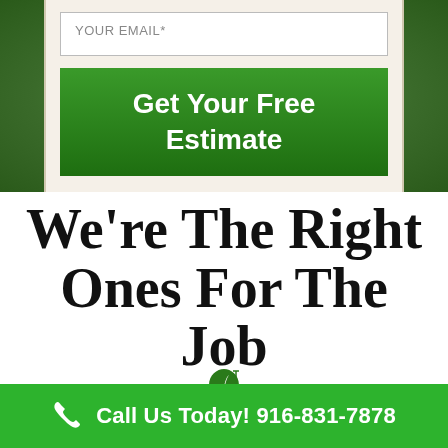[Figure (screenshot): Green background with a white form box containing an email input field and a green 'Get Your Free Estimate' button]
We're The Right Ones For The Job
[Figure (logo): Green leaf logo icon]
Call Us Today! 916-831-7878